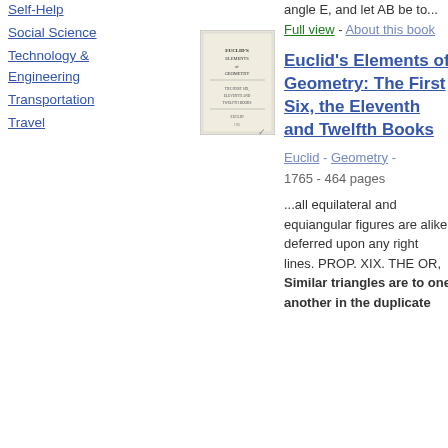Self-Help
Social Science
Technology & Engineering
Transportation
Travel
angle E, and let AB be to...
Full view - About this book
[Figure (photo): Thumbnail image of the book cover for Euclid's Elements of Geometry]
Euclid's Elements of Geometry: The First Six, the Eleventh and Twelfth Books
Euclid - Geometry - 1765 - 464 pages
...all equilateral and equiangular figures are alike deferred upon any right lines. PROP. XIX. THE OR, Similar triangles are to one another in the duplicate ratio of their...